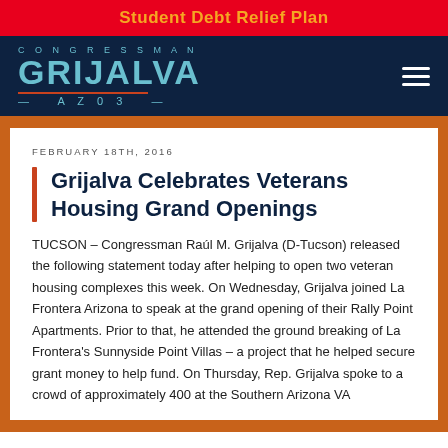Student Debt Relief Plan
[Figure (logo): Congressman Grijalva AZ03 logo on dark navy background with hamburger menu icon]
FEBRUARY 18TH, 2016
Grijalva Celebrates Veterans Housing Grand Openings
TUCSON – Congressman Raúl M. Grijalva (D-Tucson) released the following statement today after helping to open two veteran housing complexes this week. On Wednesday, Grijalva joined La Frontera Arizona to speak at the grand opening of their Rally Point Apartments. Prior to that, he attended the ground breaking of La Frontera's Sunnyside Point Villas – a project that he helped secure grant money to help fund. On Thursday, Rep. Grijalva spoke to a crowd of approximately 400 at the Southern Arizona VA